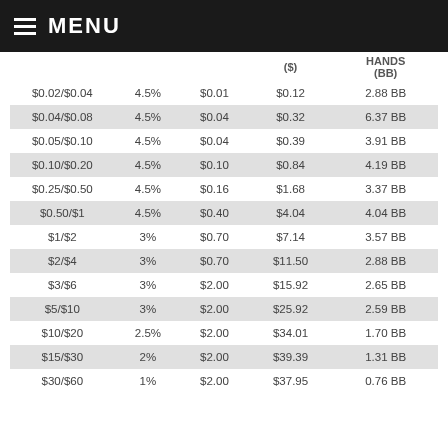MENU
|  |  |  | ($) | HANDS (BB) |
| --- | --- | --- | --- | --- |
| $0.02/$0.04 | 4.5% | $0.01 | $0.12 | 2.88 BB |
| $0.04/$0.08 | 4.5% | $0.04 | $0.32 | 6.37 BB |
| $0.05/$0.10 | 4.5% | $0.04 | $0.39 | 3.91 BB |
| $0.10/$0.20 | 4.5% | $0.10 | $0.84 | 4.19 BB |
| $0.25/$0.50 | 4.5% | $0.16 | $1.68 | 3.37 BB |
| $0.50/$1 | 4.5% | $0.40 | $4.04 | 4.04 BB |
| $1/$2 | 3% | $0.70 | $7.14 | 3.57 BB |
| $2/$4 | 3% | $0.70 | $11.50 | 2.88 BB |
| $3/$6 | 3% | $2.00 | $15.92 | 2.65 BB |
| $5/$10 | 3% | $2.00 | $25.92 | 2.59 BB |
| $10/$20 | 2.5% | $2.00 | $34.01 | 1.70 BB |
| $15/$30 | 2% | $2.00 | $39.39 | 1.31 BB |
| $30/$60 | 1% | $2.00 | $37.95 | 0.76 BB |